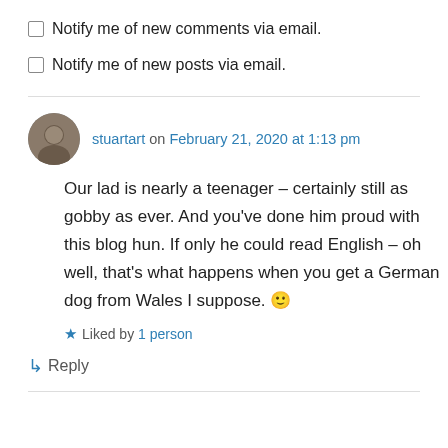Notify me of new comments via email.
Notify me of new posts via email.
stuartart on February 21, 2020 at 1:13 pm
Our lad is nearly a teenager – certainly still as gobby as ever. And you've done him proud with this blog hun. If only he could read English – oh well, that's what happens when you get a German dog from Wales I suppose. 🙂
Liked by 1 person
↳ Reply